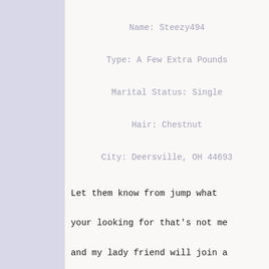Name: Steezy494
Type: A Few Extra Pounds
Marital Status: Single
Hair: Chestnut
City: Deersville, OH 44693
Let them know from jump what your looking for that's not me and my lady friend will join a couple of meaningful